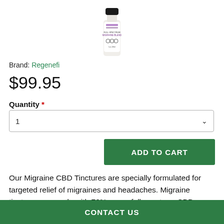[Figure (photo): Product bottle image of Regenefi Full Spectrum CBD tincture, 1oz/30ml, partially visible at top of page]
Brand: Regenefi
$99.95
Quantity *
1
ADD TO CART
Our Migraine CBD Tinctures are specially formulated for targeted relief of migraines and headaches. Migraine tinctures are made with 70%+ pure full spectrum CBD distillate blended with USDA Certified
CONTACT US